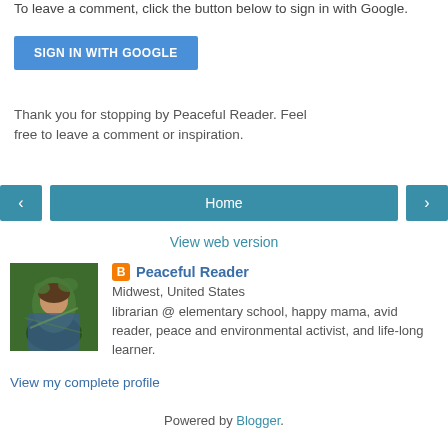To leave a comment, click the button below to sign in with Google.
[Figure (other): Blue 'SIGN IN WITH GOOGLE' button]
Thank you for stopping by Peaceful Reader. Feel free to leave a comment or inspiration.
[Figure (other): Navigation row with left arrow, Home button, and right arrow]
View web version
[Figure (photo): Profile photo of a person lying in green foliage]
Peaceful Reader
Midwest, United States
librarian @ elementary school, happy mama, avid reader, peace and environmental activist, and life-long learner.
View my complete profile
Powered by Blogger.